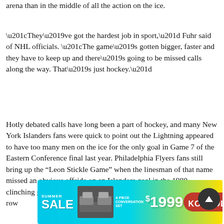arena than in the middle of all the action on the ice.
“They’ve got the hardest job in sport,” Fuhr said of NHL officials. “The game’s gotten bigger, faster and they have to keep up and there’s going to be missed calls along the way. That’s just hockey.”
Hotly debated calls have long been a part of hockey, and many New York Islanders fans were quick to point out the Lightning appeared to have too many men on the ice for the only goal in Game 7 of the Eastern Conference final last year. Philadelphia Flyers fans still bring up the “Leon Stickle Game” when the linesman of that name missed an obvious offside on an Islanders goal in the 1980 clinching game of their first of four Stanley Cup championships in a row
[Figure (photo): Advertisement for Kondolas furniture store showing a 3-piece conversation set for $1999 with a Summer Sale banner on a blue/yellow background]